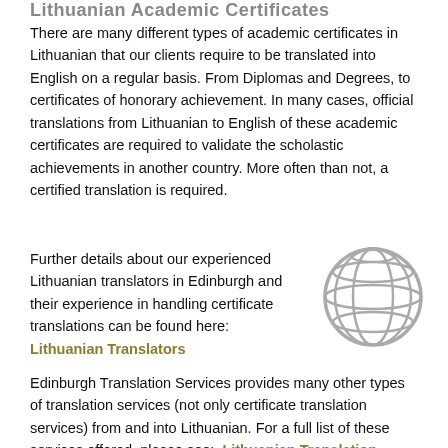Lithuanian Academic Certificates
There are many different types of academic certificates in Lithuanian that our clients require to be translated into English on a regular basis. From Diplomas and Degrees, to certificates of honorary achievement. In many cases, official translations from Lithuanian to English of these academic certificates are required to validate the scholastic achievements in another country. More often than not, a certified translation is required.
Further details about our experienced Lithuanian translators in Edinburgh and their experience in handling certificate translations can be found here:  Lithuanian Translators
[Figure (illustration): Globe/world icon in grey color representing international translation services]
Edinburgh Translation Services provides many other types of translation services (not only certificate translation services) from and into Lithuanian. For a full list of these services offered, please see:  Lithuanian Translation Services